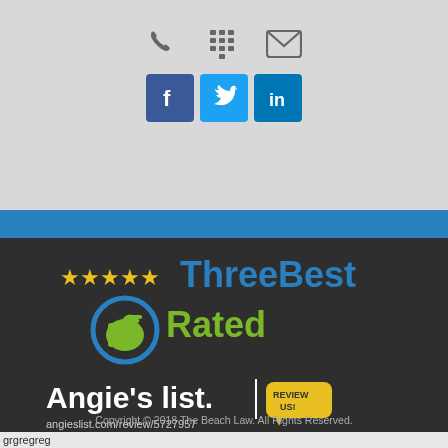[Figure (infographic): Top gray section with phone, keypad, and email icons, plus Facebook, Twitter, and LinkedIn social media buttons]
[Figure (logo): ThreeBest Rated logo with yellow stars and thumbs up icon in blue circle]
[Figure (logo): Angie's list logo with Review Us speech bubble and URL angieslist.com/review/5727957]
[Figure (infographic): Facebook, Twitter, LinkedIn social icon buttons in bottom dark section]
Copyright © 2018 The Beach Law. All Rights Reserved.
grgregreg